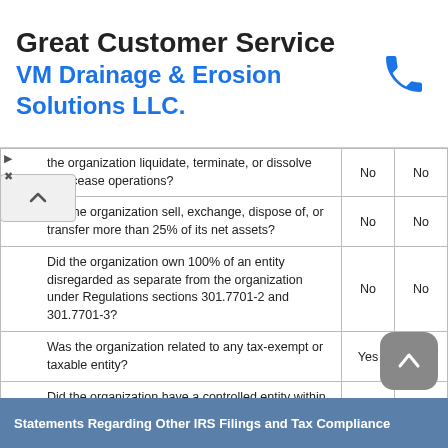[Figure (other): Advertisement banner: Great Customer Service / VM Drainage & Erosion Solutions LLC. with phone icon]
| Question | Col1 | Col2 |
| --- | --- | --- |
| the organization liquidate, terminate, or dissolve and cease operations? | No | No |
| Did the organization sell, exchange, dispose of, or transfer more than 25% of its net assets? | No | No |
| Did the organization own 100% of an entity disregarded as separate from the organization under Regulations sections 301.7701-2 and 301.7701-3? | No | No |
| Was the organization related to any tax-exempt or taxable entity? | Yes | Yes |
| Did the organization have a controlled entity within the meaning of section 512(b)(13)? | No | No |
| Did the organization make any transfers to an exempt non-charitable related organization? | No | No |
| Did the organization conduct more than 5% of its activities through an entity that is not a related organization and that is treated as a partnership for federal income tax purposes? | No | No |
Statements Regarding Other IRS Filings and Tax Compliance